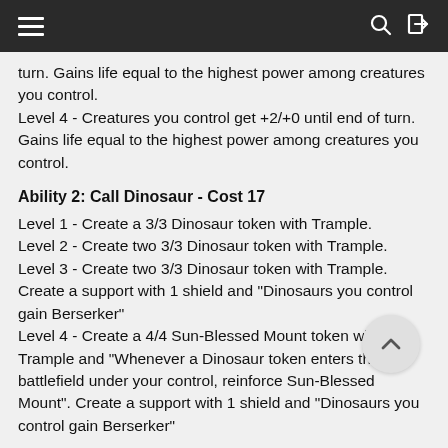≡  🔍  ⎋
turn. Gains life equal to the highest power among creatures you control.
Level 4 - Creatures you control get +2/+0 until end of turn. Gains life equal to the highest power among creatures you control.
Ability 2: Call Dinosaur - Cost 17
Level 1 - Create a 3/3 Dinosaur token with Trample.
Level 2 - Create two 3/3 Dinosaur token with Trample.
Level 3 - Create two 3/3 Dinosaur token with Trample. Create a support with 1 shield and "Dinosaurs you control gain Berserker"
Level 4 - Create a 4/4 Sun-Blessed Mount token with Trample and "Whenever a Dinosaur token enters the battlefield under your control, reinforce Sun-Blessed Mount". Create a support with 1 shield and "Dinosaurs you control gain Berserker"